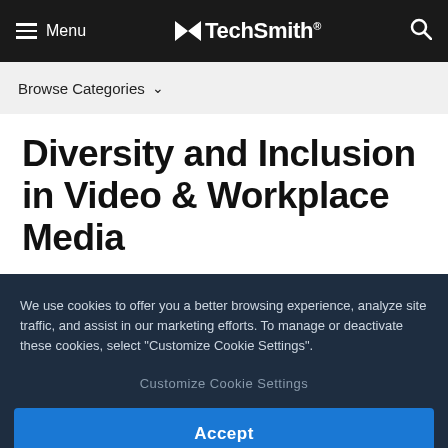Menu | TechSmith®
Browse Categories ▾
Diversity and Inclusion in Video & Workplace Media
We use cookies to offer you a better browsing experience, analyze site traffic, and assist in our marketing efforts. To manage or deactivate these cookies, select "Customize Cookie Settings".
Customize Cookie Settings
Accept